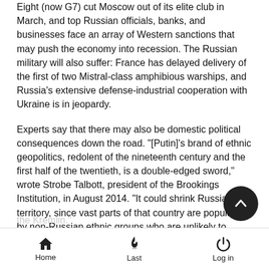Eight (now G7) cut Moscow out of its elite club in March, and top Russian officials, banks, and businesses face an array of Western sanctions that may push the economy into recession. The Russian military will also suffer: France has delayed delivery of the first of two Mistral-class amphibious warships, and Russia's extensive defense-industrial cooperation with Ukraine is in jeopardy.
Experts say that there may also be domestic political consequences down the road. "[Putin]'s brand of ethnic geopolitics, redolent of the nineteenth century and the first half of the twentieth, is a double-edged sword," wrote Strobe Talbott, president of the Brookings Institution, in August 2014. "It could shrink Russian territory, since vast parts of that country are populated by non-Russian ethnic groups who are unlikely to welcome or, over the long run, tolerate a Russian chauvinist in the Kremlin."
Home | Last | Log in